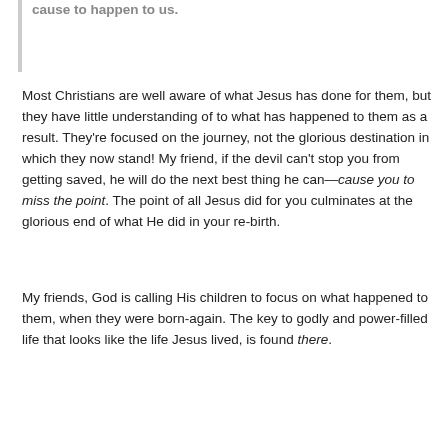cause to happen to us.
Most Christians are well aware of what Jesus has done for them, but they have little understanding of to what has happened to them as a result. They're focused on the journey, not the glorious destination in which they now stand! My friend, if the devil can't stop you from getting saved, he will do the next best thing he can—cause you to miss the point. The point of all Jesus did for you culminates at the glorious end of what He did in your re-birth.
My friends, God is calling His children to focus on what happened to them, when they were born-again. The key to godly and power-filled life that looks like the life Jesus lived, is found there.